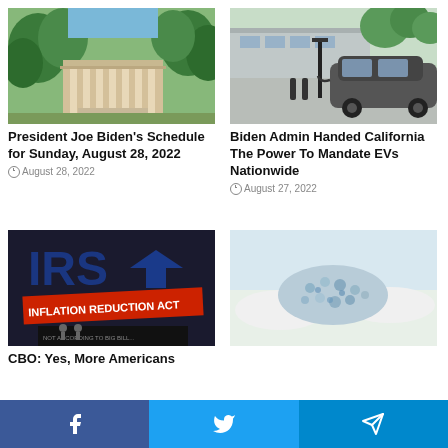[Figure (photo): Exterior of a large building with white columns surrounded by trees, viewed from a driveway]
President Joe Biden’s Schedule for Sunday, August 28, 2022
August 28, 2022
[Figure (photo): A dark grey electric vehicle being charged at a public EV charging station on a street]
Biden Admin Handed California The Power To Mandate EVs Nationwide
August 27, 2022
[Figure (photo): Political cartoon showing IRS logo and text 'Inflation Reduction Act']
CBO: Yes, More Americans
[Figure (photo): Close-up of blue pills or powder substance held by a gloved hand]